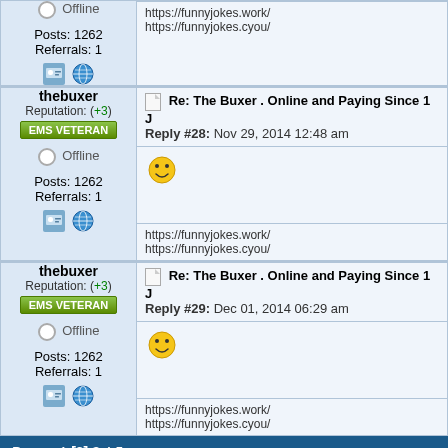| User | Post |
| --- | --- |
| thebuxer
Reputation: (+3)
EMS VETERAN
Offline
Posts: 1262
Referrals: 1 | Re: The Buxer . Online and Paying Since 1 J
Reply #28: Nov 29, 2014 12:48 am
:)
https://funnyjokes.work/
https://funnyjokes.cyou/ |
| thebuxer
Reputation: (+3)
EMS VETERAN
Offline
Posts: 1262
Referrals: 1 | Re: The Buxer . Online and Paying Since 1 J
Reply #29: Dec 01, 2014 06:29 am
:)
https://funnyjokes.work/
https://funnyjokes.cyou/ |
Pages: 1 [2] 3 4 5